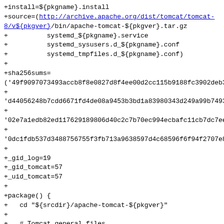+install=${pkgname}.install
+source=(http://archive.apache.org/dist/tomcat/tomcat-8/v${pkgver}/bin/apache-tomcat-${pkgver}.tar.gz
+          systemd_${pkgname}.service
+          systemd_sysusers.d_${pkgname}.conf
+          systemd_tmpfiles.d_${pkgname}.conf)
+
+sha256sums=
('49f9097073493accb8f8e0827d8f4ee00d2cc115b9188fc3902deb3
+
'd44056248b7cdd6671fd4de08a9453b3bd1a83980343d249a99b7493
+
'02e7a1edb82ed117629189806d40c2c7b70ec994ecbafc11cb7dc7ee
+
'0dc1fdb537d3488756755f3fb713a9638597d4c68596f6f94f2707e8
+
+_gid_log=19
+_gid_tomcat=57
+_uid_tomcat=57
+
+package() {
+   cd "${srcdir}/apache-tomcat-${pkgver}"
+
+   # Tomcat general files
+   install -dm755
"${pkgdir}"/usr/share/{,java/}${pkgname}
+   cp -r bin "${pkgdir}"/usr/share/${pkgname}
+   # commons-daemon and tomcat-natives are packaged on their own
+   rm